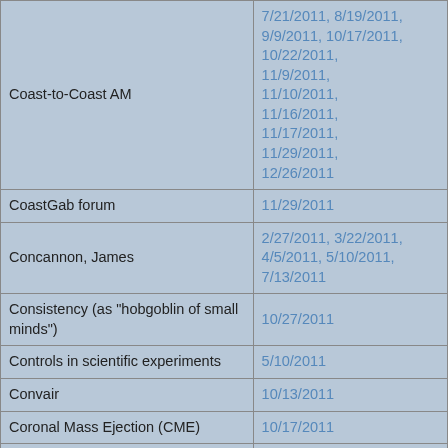| Topic/Name | Date(s) |
| --- | --- |
| Coast-to-Coast AM | 7/21/2011, 8/19/2011, 9/9/2011, 10/17/2011, 10/22/2011, 11/9/2011, 11/10/2011, 11/16/2011, 11/17/2011, 11/29/2011, 12/26/2011 |
| CoastGab forum | 11/29/2011 |
| Concannon, James | 2/27/2011, 3/22/2011, 4/5/2011, 5/10/2011, 7/13/2011 |
| Consistency (as "hobgoblin of small minds") | 10/27/2011 |
| Controls in scientific experiments | 5/10/2011 |
| Convair | 10/13/2011 |
| Coronal Mass Ejection (CME) | 10/17/2011 |
| Cosmic ray detector | 5/17/2011 |
| Cotterell, Maurice | 4/26/2011 |
| "Cromulent Kwijibo" | 4/11/2011 |
| Cruise into 2012 (Bara cancels) | 3/7/2011 |
| Curiosity Mars rover | 11/29/2011 |